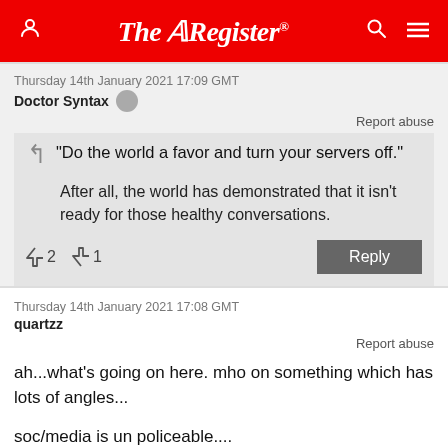The Register
Thursday 14th January 2021 17:09 GMT
Doctor Syntax
Report abuse
"Do the world a favor and turn your servers off."
After all, the world has demonstrated that it isn't ready for those healthy conversations.
↑2  ↓1    Reply
Thursday 14th January 2021 17:08 GMT
quartzz
Report abuse
ah...what's going on here. mho on something which has lots of angles...
soc/media is un policeable....